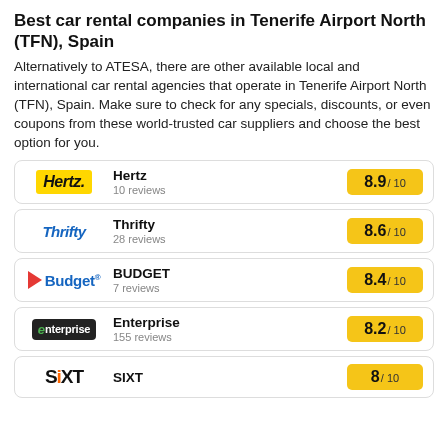Best car rental companies in Tenerife Airport North (TFN), Spain
Alternatively to ATESA, there are other available local and international car rental agencies that operate in Tenerife Airport North (TFN), Spain. Make sure to check for any specials, discounts, or even coupons from these world-trusted car suppliers and choose the best option for you.
Hertz — 8.9/10 — 10 reviews
Thrifty — 8.6/10 — 28 reviews
BUDGET — 8.4/10 — 7 reviews
Enterprise — 8.2/10 — 155 reviews
SIXT — 8/10